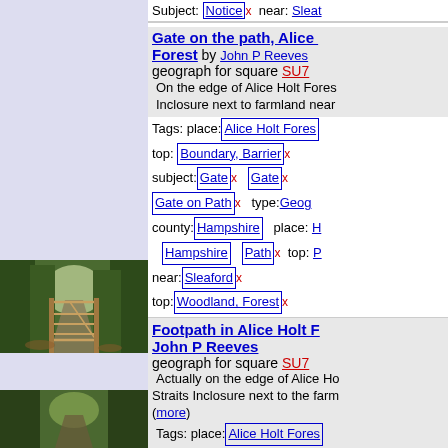[Figure (photo): Gate on a woodland path in Alice Holt Forest]
Gate on the path, Alice Forest by John P Reeves geograph for square SU7 — On the edge of Alice Holt Forest Inclosure next to farmland near. Tags: place: Alice Holt Forest top: Boundary, Barrier x subject: Gate x Gate x Gate on Path x type: Geog county: Hampshire place: Hampshire Path x top: near: Sleaford x top: Woodland, Forest x
[Figure (photo): Footpath in Alice Holt Forest]
Footpath in Alice Holt Forest by John P Reeves geograph for square SU7 — Actually on the edge of Alice Holt Straits Inclosure next to the farm (more). Tags: place: Alice Holt Forest Foot Path x Footpath x